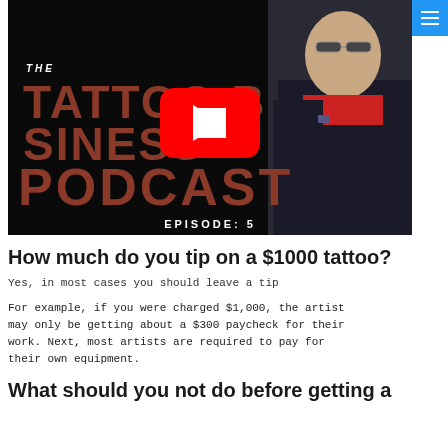[Figure (screenshot): YouTube video thumbnail for 'The Tattoo Business Podcast Episode 5' with a man in a dark suit and red shirt, YouTube play button overlay, dark background with large stylized text]
How much do you tip on a $1000 tattoo?
Yes, in most cases you should leave a tip
For example, if you were charged $1,000, the artist may only be getting about a $300 paycheck for their work. Next, most artists are required to pay for their own equipment.
What should you not do before getting a